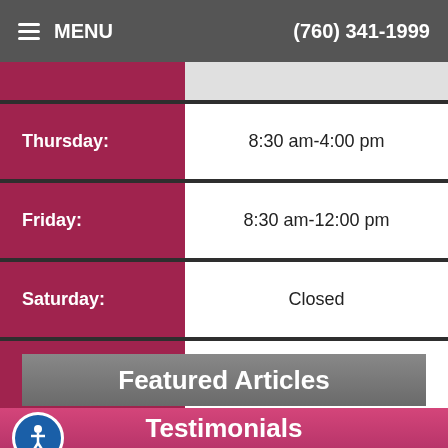MENU  (760) 341-1999
| Day | Hours |
| --- | --- |
| Thursday: | 8:30 am-4:00 pm |
| Friday: | 8:30 am-12:00 pm |
| Saturday: | Closed |
| Sunday: | Closed |
Featured Articles
Testimonials